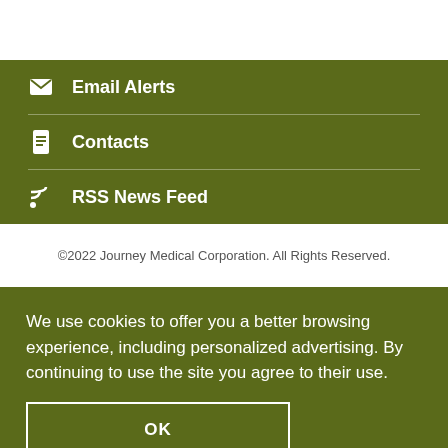Email Alerts
Contacts
RSS News Feed
©2022 Journey Medical Corporation. All Rights Reserved.
We use cookies to offer you a better browsing experience, including personalized advertising. By continuing to use the site you agree to their use.
OK